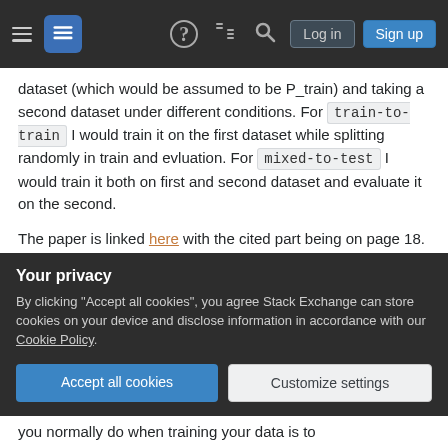Stack Exchange navigation bar with hamburger menu, logo, help icon, chat icon, search icon, Log in button, Sign up button
dataset (which would be assumed to be P_train) and taking a second dataset under different conditions. For train-to-train I would train it on the first dataset while splitting randomly in train and evluation. For mixed-to-test I would train it both on first and second dataset and evaluate it on the second.
The paper is linked here with the cited part being on page 18.
Does anybody have any idea of how to tackle this
Your privacy
By clicking "Accept all cookies", you agree Stack Exchange can store cookies on your device and disclose information in accordance with our Cookie Policy.
Accept all cookies
Customize settings
you normally do when training your data is to